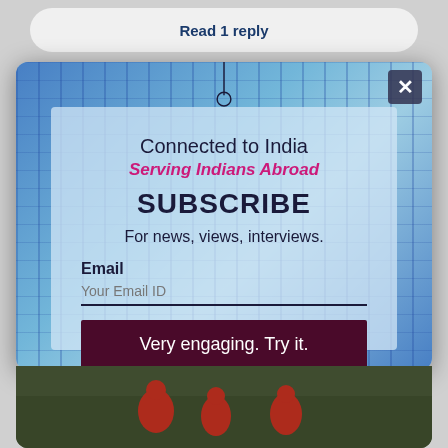Read 1 reply
[Figure (screenshot): Subscribe modal overlay on a website. Shows 'Connected to India / Serving Indians Abroad / SUBSCRIBE / For news, views, interviews.' with an email input field, a dark red 'Very engaging. Try it.' button, and 'Business-Bollywood-Features-News-Fun-Stuff' text at the bottom. Background shows a blue glass building. Close (X) button in top right.]
[Figure (photo): Cricket players in red uniforms at the bottom of the page]